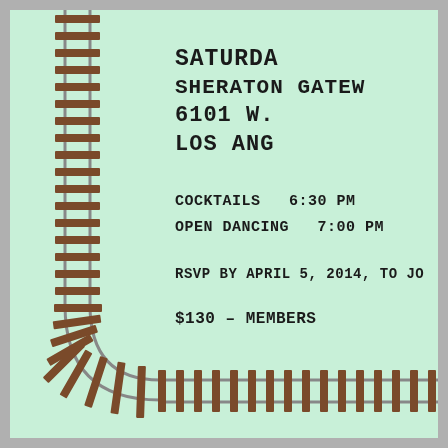[Figure (illustration): Railroad track border curving from top-left down and around the bottom of the card, with brown wooden ties and metallic rails on a mint green background]
SATURDA
SHERATON GATEW
6101 W.
LOS ANG
COCKTAILS   6:30 PM
OPEN DANCING   7:00 PM
RSVP BY APRIL 5, 2014, TO JO
$130 – MEMBERS